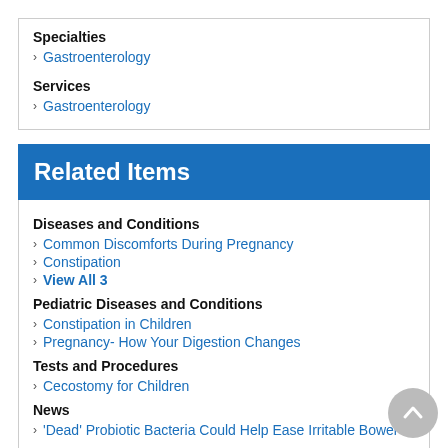Specialties
Gastroenterology
Services
Gastroenterology
Related Items
Diseases and Conditions
Common Discomforts During Pregnancy
Constipation
View All 3
Pediatric Diseases and Conditions
Constipation in Children
Pregnancy- How Your Digestion Changes
Tests and Procedures
Cecostomy for Children
News
'Dead' Probiotic Bacteria Could Help Ease Irritable Bowel